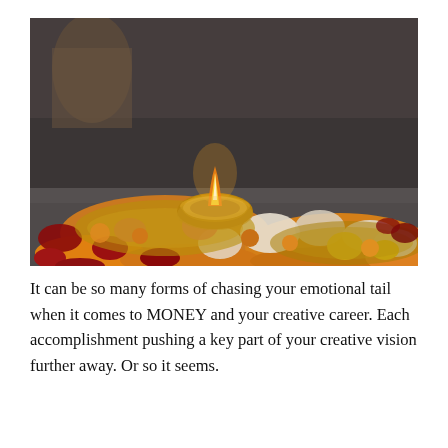[Figure (photo): A lit clay diya (oil lamp) placed on brass plates filled with colorful flowers including orange marigolds, red roses, yellow and white flowers, set against a dark stone background.]
It can be so many forms of chasing your emotional tail when it comes to MONEY and your creative career. Each accomplishment pushing a key part of your creative vision further away. Or so it seems.